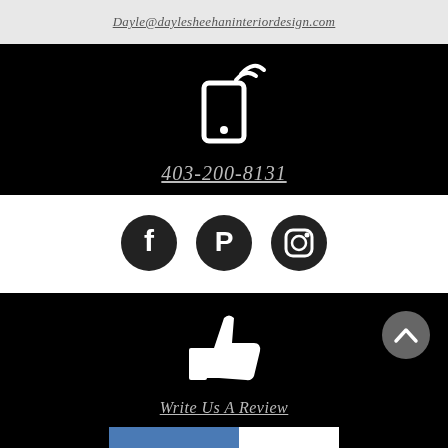Dayle@daylesheehaninteriordesign.com
[Figure (illustration): White mobile phone icon with wifi signal waves on black background, above phone number 403-200-8131]
403-200-8131
[Figure (illustration): Three social media icons: Facebook, Pinterest, Instagram — black circles with white icons]
[Figure (illustration): White thumbs up icon on black background above Write Us A Review text, with grey back-to-top button]
Write Us A Review
[Figure (photo): Partial photo of a man smiling with cityscape, partially overlaid with INSPIRED text on white card]